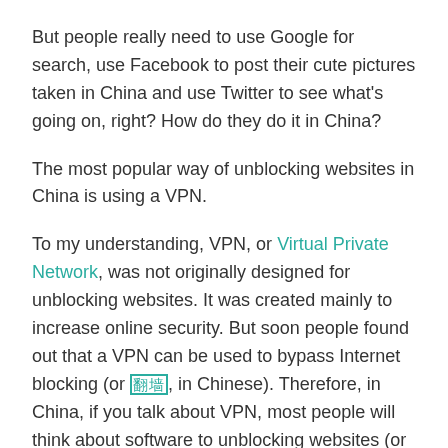But people really need to use Google for search, use Facebook to post their cute pictures taken in China and use Twitter to see what's going on, right? How do they do it in China?
The most popular way of unblocking websites in China is using a VPN.
To my understanding, VPN, or Virtual Private Network, was not originally designed for unblocking websites. It was created mainly to increase online security. But soon people found out that a VPN can be used to bypass Internet blocking (or 翻墙, in Chinese). Therefore, in China, if you talk about VPN, most people will think about software to unblocking websites (or 翻墙软件, in Chinese) , not Internet security.
But using a VPN in China is not as easy as you thought.